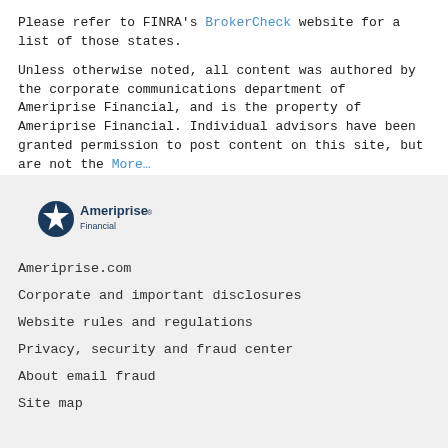Please refer to FINRA's BrokerCheck website for a list of those states.
Unless otherwise noted, all content was authored by the corporate communications department of Ameriprise Financial, and is the property of Ameriprise Financial. Individual advisors have been granted permission to post content on this site, but are not the More…
[Figure (logo): Ameriprise Financial logo with compass star icon in dark blue]
Ameriprise.com
Corporate and important disclosures
Website rules and regulations
Privacy, security and fraud center
About email fraud
Site map